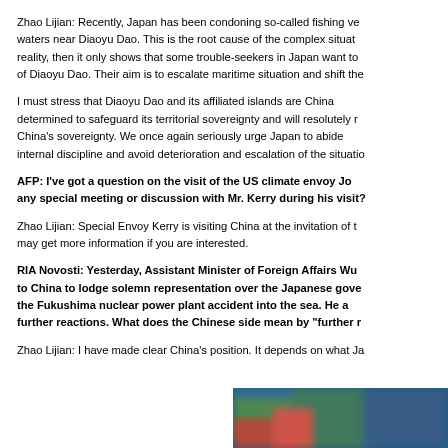Zhao Lijian: Recently, Japan has been condoning so-called fishing vessels in waters near Diaoyu Dao. This is the root cause of the complex situation. If they deny reality, then it only shows that some trouble-seekers in Japan want to deny the reality of Diaoyu Dao. Their aim is to escalate maritime situation and shift the...
I must stress that Diaoyu Dao and its affiliated islands are China's... determined to safeguard its territorial sovereignty and will resolutely maintain China's sovereignty. We once again seriously urge Japan to abide by internal discipline and avoid deterioration and escalation of the situation...
AFP: I've got a question on the visit of the US climate envoy Jo... any special meeting or discussion with Mr. Kerry during his visit?...
Zhao Lijian: Special Envoy Kerry is visiting China at the invitation of t... may get more information if you are interested.
RIA Novosti: Yesterday, Assistant Minister of Foreign Affairs Wu... to China to lodge solemn representation over the Japanese gove... the Fukushima nuclear power plant accident into the sea. He a... further reactions. What does the Chinese side mean by "further r...
Zhao Lijian: I have made clear China's position. It depends on what Ja...
[Figure (photo): Blurred photo showing green and blue colors, partially visible at bottom right of page]